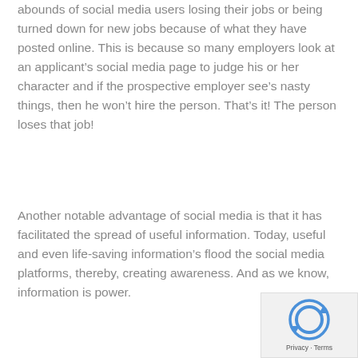abounds of social media users losing their jobs or being turned down for new jobs because of what they have posted online. This is because so many employers look at an applicant's social media page to judge his or her character and if the prospective employer see's nasty things, then he won't hire the person. That's it! The person loses that job!
Another notable advantage of social media is that it has facilitated the spread of useful information. Today, useful and even life-saving information's flood the social media platforms, thereby, creating awareness. And as we know, information is power.